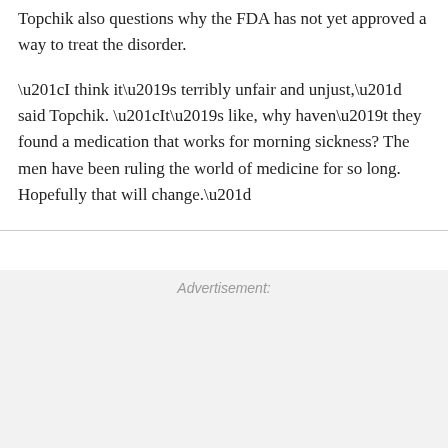Topchik also questions why the FDA has not yet approved a way to treat the disorder.
“I think it’s terribly unfair and unjust,” said Topchik. “It’s like, why haven’t they found a medication that works for morning sickness? The men have been ruling the world of medicine for so long. Hopefully that will change.”
Advertisement: